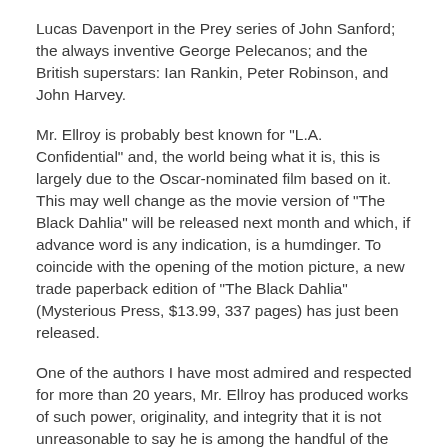Lucas Davenport in the Prey series of John Sanford; the always inventive George Pelecanos; and the British superstars: Ian Rankin, Peter Robinson, and John Harvey.
Mr. Ellroy is probably best known for "L.A. Confidential" and, the world being what it is, this is largely due to the Oscar-nominated film based on it. This may well change as the movie version of "The Black Dahlia" will be released next month and which, if advance word is any indication, is a humdinger. To coincide with the opening of the motion picture, a new trade paperback edition of "The Black Dahlia" (Mysterious Press, $13.99, 337 pages) has just been released.
One of the authors I have most admired and respected for more than 20 years, Mr. Ellroy has produced works of such power, originality, and integrity that it is not unreasonable to say he is among the handful of the most influential writers of the past two decades. The machine gun